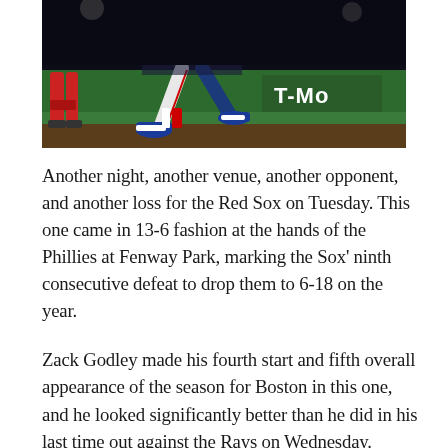[Figure (photo): Night baseball game photo showing players' legs and feet at field level. A catcher in red leg guards on the left, a baserunner in white and blue uniform mid-stride in the center, at Fenway Park. A T-Mobile advertisement banner visible in background on green wall.]
Another night, another venue, another opponent, and another loss for the Red Sox on Tuesday. This one came in 13-6 fashion at the hands of the Phillies at Fenway Park, marking the Sox' ninth consecutive defeat to drop them to 6-18 on the year.
Zack Godley made his fourth start and fifth overall appearance of the season for Boston in this one, and he looked significantly better than he did in his last time out against the Rays on Wednesday.